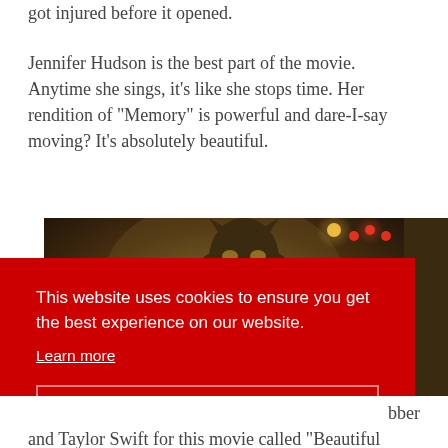got injured before it opened.
Jennifer Hudson is the best part of the movie. Anytime she sings, it's like she stops time. Her rendition of "Memory" is powerful and dare-I-say moving? It's absolutely beautiful.
[Figure (photo): A cat-like creature from the Cats movie, partially cropped, in a theatrical stage setting with warm amber/red lights in background]
This website uses cookies to ensure you get the best experience on our website.
Learn more
Got it!
bber and Taylor Swift for this movie called "Beautiful